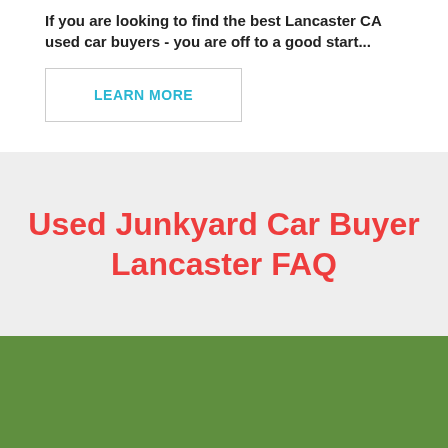If you are looking to find the best Lancaster CA used car buyers - you are off to a good start...
LEARN MORE
Used Junkyard Car Buyer Lancaster FAQ